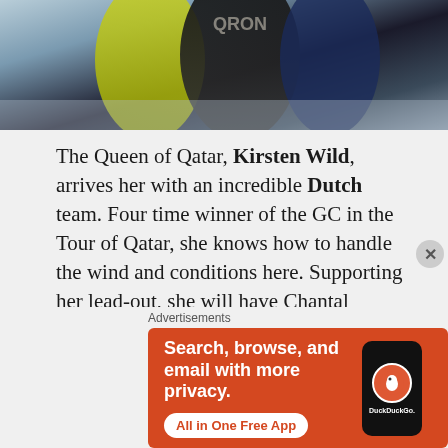[Figure (photo): Cyclists racing, partial view of riders in cycling kit]
The Queen of Qatar, Kirsten Wild, arrives her with an incredible Dutch team. Four time winner of the GC in the Tour of Qatar, she knows how to handle the wind and conditions here. Supporting her lead-out, she will have Chantal Blaak, Amy Pieters and Marianne Vos, not bad eh?! The one thing that concerns me is that everyone on the Dutch team could potentially win this race in varying situations. Put it this way, out of the top 15 favourites (by the bookmakers), 7 of them are
[Figure (infographic): DuckDuckGo advertisement banner: Search, browse, and email with more privacy. All in One Free App. Shows DuckDuckGo logo on a phone graphic.]